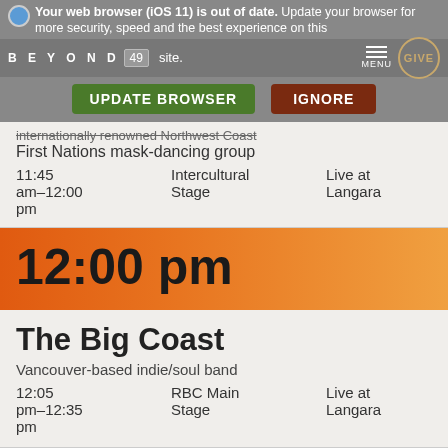Your web browser (iOS 11) is out of date. Update your browser for more security, speed and the best experience on this site.
BEYOND 49 | MENU | GIVE
UPDATE BROWSER    IGNORE
internationally renowned Northwest Coast
First Nations mask-dancing group
11:45 am–12:00 pm	Intercultural Stage	Live at Langara
12:00 pm
The Big Coast
Vancouver-based indie/soul band
12:05 pm–12:35 pm	RBC Main Stage	Live at Langara
Rockin' Robin
Family-friendly musical production starring Robin Redcoat